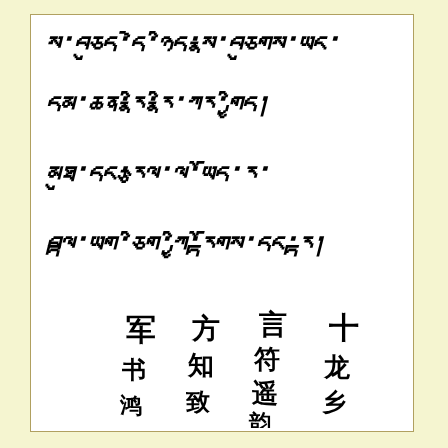[Figure (illustration): Page with Tibetan script text in four lines at the top half, and Chinese cursive calligraphy characters arranged in four columns at the bottom half, all on white background with light yellow border.]